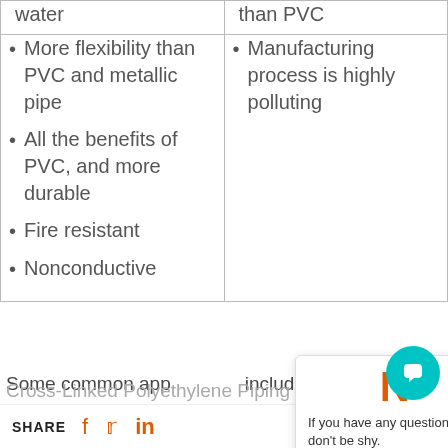water
than PVC
More flexibility than PVC and metallic pipe
Manufacturing process is highly polluting
All the benefits of PVC, and more durable
Fire resistant
Nonconductive
Some common applications include hot and cold drains, and disposal pipes (waste and water).
Cross-Linked Polyethylene Piping (PEX)